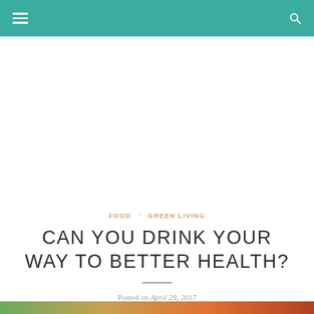Navigation bar with menu and search icons
FOOD · GREEN LIVING
CAN YOU DRINK YOUR WAY TO BETTER HEALTH?
Posted on April 29, 2017
[Figure (photo): Partial bottom strip showing a colorful food/drink image, cropped at page bottom]